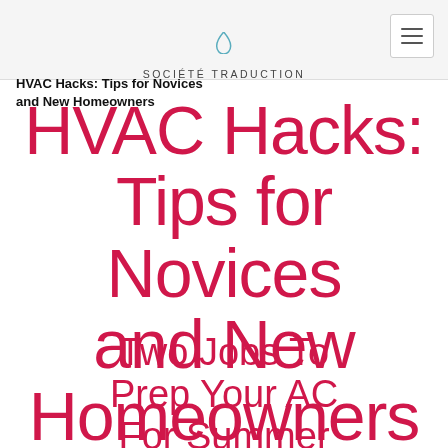SOCIÉTÉ TRADUCTION
HVAC Hacks: Tips for Novices and New Homeowners
HVAC Hacks: Tips for Novices and New Homeowners
Two Jobs To Prep Your AC For Summer